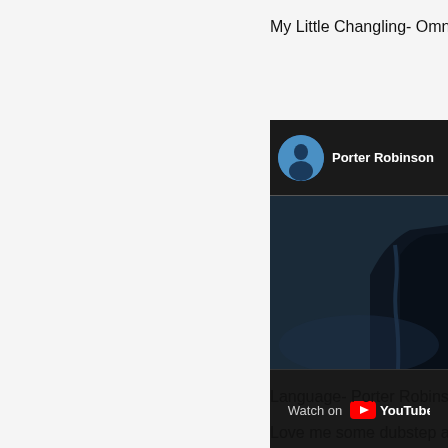My Little Changling- Omnipo
[Figure (screenshot): YouTube video embed showing Porter Robinson channel with a dark atmospheric music video thumbnail and 'Watch on YouTube' button at bottom]
Language- Porter Robinson
Love me some dubstep and